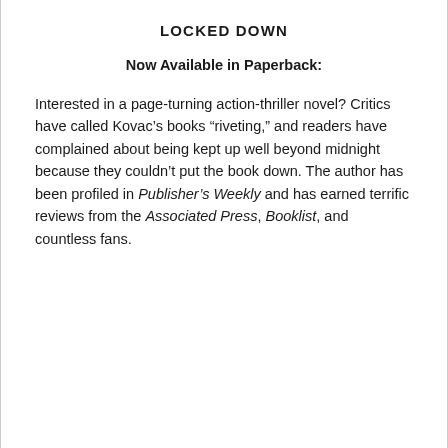LOCKED DOWN
Now Available in Paperback:
Interested in a page-turning action-thriller novel? Critics have called Kovac’s books “riveting,” and readers have complained about being kept up well beyond midnight because they couldn’t put the book down. The author has been profiled in Publisher’s Weekly and has earned terrific reviews from the Associated Press, Booklist, and countless fans.